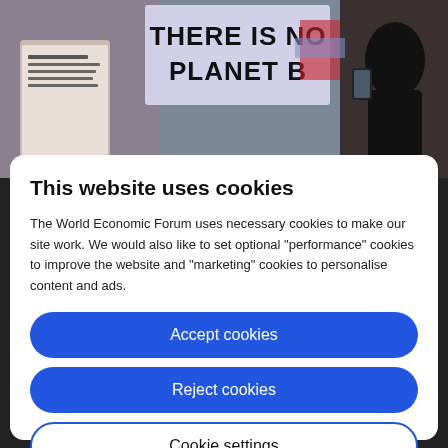[Figure (photo): Protest photo showing people holding signs including one reading 'THERE IS NO PLANET B', with a person's silhouette on the right using a phone]
This website uses cookies
The World Economic Forum uses necessary cookies to make our site work. We would also like to set optional "performance" cookies to improve the website and "marketing" cookies to personalise content and ads.
Accept cookies
Reject cookies
Cookie settings